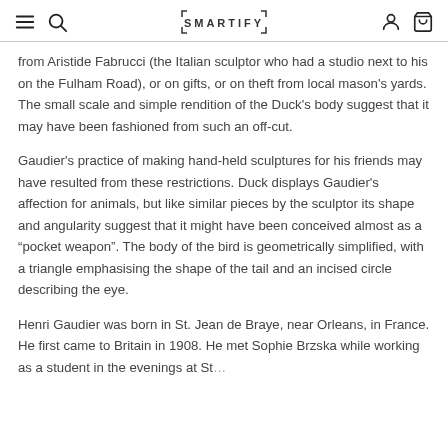SMARTIFY
from Aristide Fabrucci (the Italian sculptor who had a studio next to his on the Fulham Road), or on gifts, or on theft from local mason's yards. The small scale and simple rendition of the Duck's body suggest that it may have been fashioned from such an off-cut.
Gaudier's practice of making hand-held sculptures for his friends may have resulted from these restrictions. Duck displays Gaudier's affection for animals, but like similar pieces by the sculptor its shape and angularity suggest that it might have been conceived almost as a “pocket weapon”. The body of the bird is geometrically simplified, with a triangle emphasising the shape of the tail and an incised circle describing the eye.
Henri Gaudier was born in St. Jean de Braye, near Orleans, in France. He first came to Britain in 1908. He met Sophie Brzska while working as a student in the evenings at Ste...